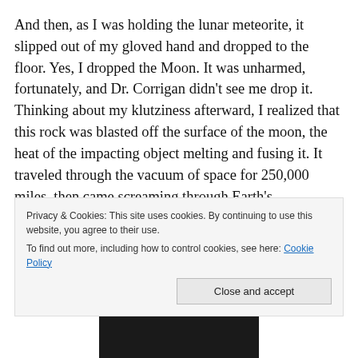And then, as I was holding the lunar meteorite, it slipped out of my gloved hand and dropped to the floor. Yes, I dropped the Moon. It was unharmed, fortunately, and Dr. Corrigan didn't see me drop it. Thinking about my klutziness afterward, I realized that this rock was blasted off the surface of the moon, the heat of the impacting object melting and fusing it. It traveled through the vacuum of space for 250,000 miles, then came screaming through Earth's atmosphere at supersonic speeds, heating to incandescence until it slammed into the ice of Antarctica. Then glacial forces ground it up into the margin of a
Privacy & Cookies: This site uses cookies. By continuing to use this website, you agree to their use.
To find out more, including how to control cookies, see here: Cookie Policy